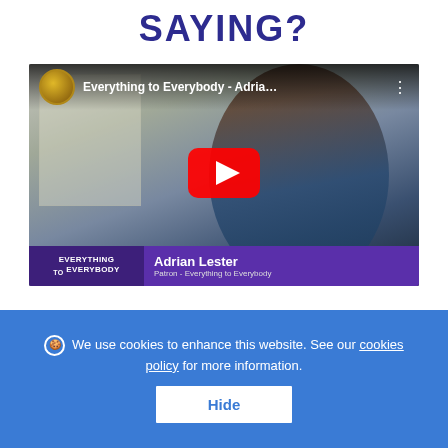SAYING?
[Figure (screenshot): YouTube video thumbnail showing Adrian Lester, Patron of Everything to Everybody. Title reads 'Everything to Everybody - Adria...' with a red YouTube play button in the center. Bottom shows purple name bar with 'EVERYTHING TO EVERYBODY' logo and 'Adrian Lester / Patron - Everything to Everybody' text.]
We use cookies to enhance this website. See our cookies policy for more information.
Hide